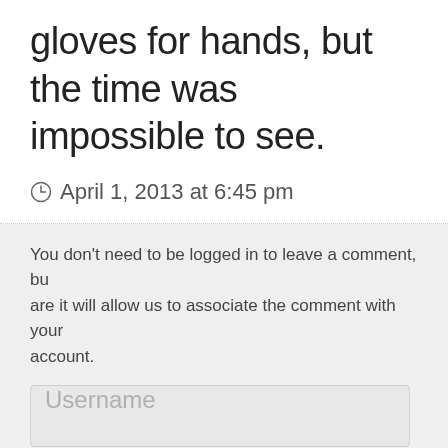gloves for hands, but the time was impossible to see.
April 1, 2013 at 6:45 pm
You don't need to be logged in to leave a comment, but doing so are it will allow us to associate the comment with your account.
Username
Password
Remember Me